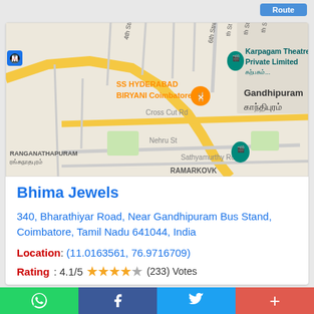[Figure (map): Google Maps view of Gandhipuram area in Coimbatore showing streets including Cross Cut Rd, Nehru St, Sathyamurthy Rd, with landmarks SS HYDERABAD BIRYANI Coimbatore, Karpagam Theatres Private Limited, and neighborhoods RANGANATHAPURAM and RAMARKOVK]
Bhima Jewels
340, Bharathiyar Road, Near Gandhipuram Bus Stand, Coimbatore, Tamil Nadu 641044, India
Location: (11.0163561, 76.9716709)
Rating: 4.1/5 ★★★★☆ (233) Votes